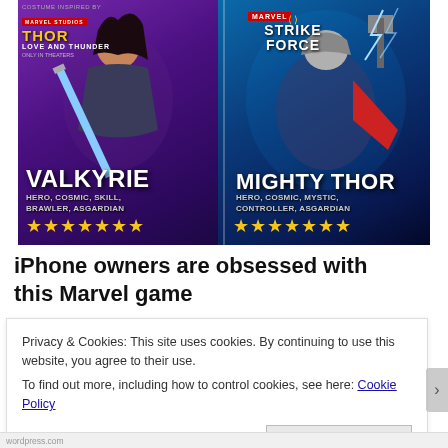[Figure (screenshot): Marvel Strike Force game advertisement showing two characters: Valkyrie (Hero, Cosmic, Skill, Brawler, Asgardian) with 7 gold stars on the left, and Mighty Thor (Hero, Cosmic, Mystic, Controller, Asgardian) with 7 gold stars on the right. The Marvel Strike Force logo appears at the top center. Thor: Love and Thunder movie logo appears top left.]
iPhone owners are obsessed with this Marvel game
Privacy & Cookies: This site uses cookies. By continuing to use this website, you agree to their use.
To find out more, including how to control cookies, see here: Cookie Policy